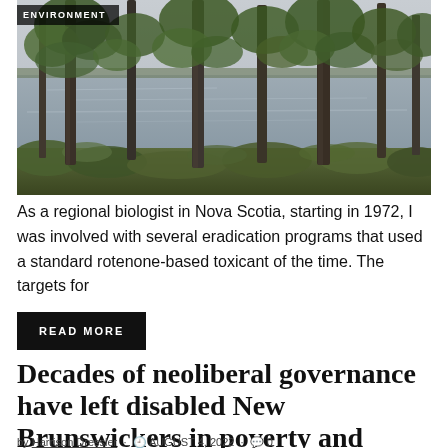[Figure (photo): Photograph of pine trees along a lakeside, view through tall tree trunks to a calm grey lake with sky above, with low shrubs and ground cover visible. Tag 'ENVIRONMENT' overlaid top-left.]
As a regional biologist in Nova Scotia, starting in 1972, I was involved with several eradication programs that used a standard rotenone-based toxicant of the time. The targets for
READ MORE
Decades of neoliberal governance have left disabled New Brunswickers in poverty and without social assistance
by Harrison Dressler · AUGUST 4, 2022 · 0